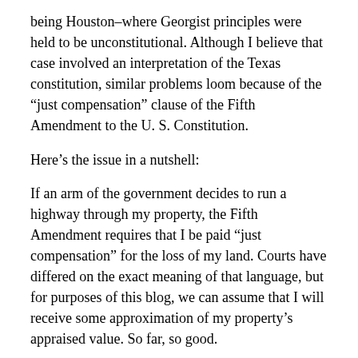being Houston–where Georgist principles were held to be unconstitutional. Although I believe that case involved an interpretation of the Texas constitution, similar problems loom because of the “just compensation” clause of the Fifth Amendment to the U. S. Constitution.
Here’s the issue in a nutshell:
If an arm of the government decides to run a highway through my property, the Fifth Amendment requires that I be paid “just compensation” for the loss of my land. Courts have differed on the exact meaning of that language, but for purposes of this blog, we can assume that I will receive some approximation of my property’s appraised value. So far, so good.
What’s all that got to do with Georgism? One could argue that if the government decides to tax my real property at a rate so high that the market value of my land goes to zero, then the